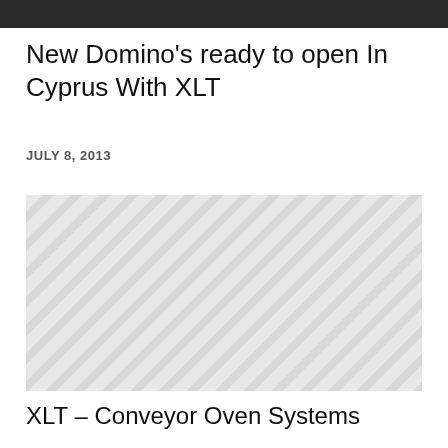[Figure (photo): Dark cropped image at top of page]
New Domino's ready to open In Cyprus With XLT
JULY 8, 2013
[Figure (photo): Image placeholder with diagonal stripe pattern in light gray]
XLT – Conveyor Oven Systems